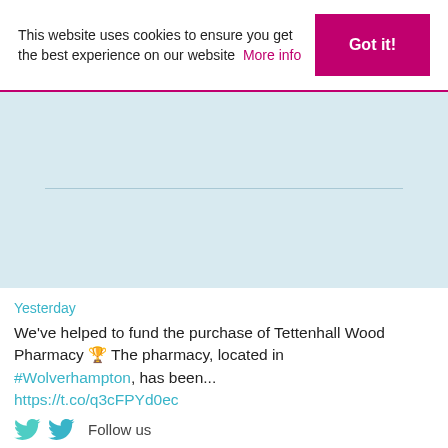This website uses cookies to ensure you get the best experience on our website  More info
[Figure (other): Light blue banner area with a faint horizontal line in the middle]
Yesterday
We've helped to fund the purchase of Tettenhall Wood Pharmacy 🏆 The pharmacy, located in #Wolverhampton, has been... https://t.co/q3cFPYd0ec
Follow us